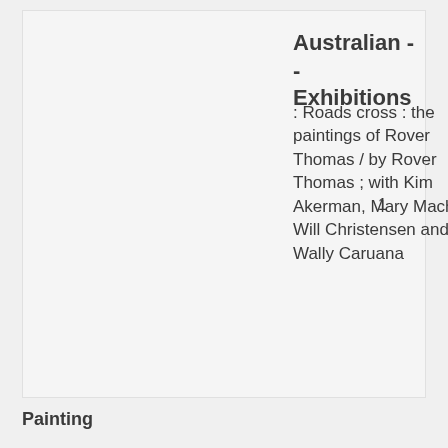Australian - - Exhibitions
: Roads cross : the paintings of Rover Thomas / by Rover Thomas ; with Kim Akerman, Mary Macha, Will Christensen and Wally Caruana
1
Painting